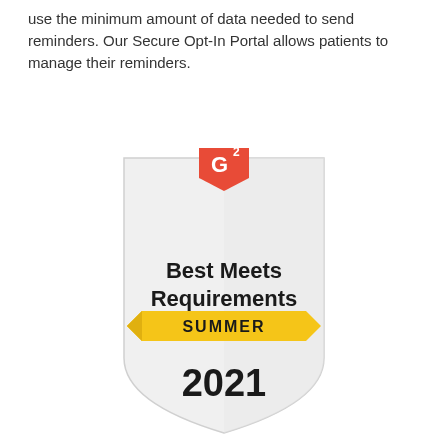use the minimum amount of data needed to send reminders. Our Secure Opt-In Portal allows patients to manage their reminders.
[Figure (illustration): G2 badge: Best Meets Requirements, Summer 2021. Shield-shaped badge in light grey with a red G2 logo at the top center, bold text 'Best Meets Requirements', a yellow banner reading 'SUMMER', and large bold text '2021'.]